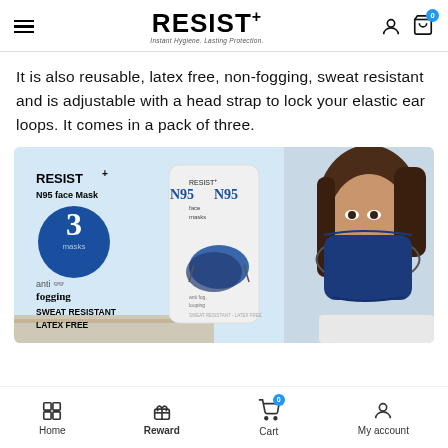RESIST+ — Instant Hygiene. Lasting Protection.
It is also reusable, latex free, non-fogging, sweat resistant and is adjustable with a head strap to lock your elastic ear loops. It comes in a pack of three.
[Figure (photo): Product image of RESIST+ N95 face mask. Shows packaging with '3 masks' badge, anti fogging, sweat resistant, latex free claims. A woman wearing a navy blue N95 mask is shown on the right side. Light blue background.]
Home | Reward | Cart (0) | My account